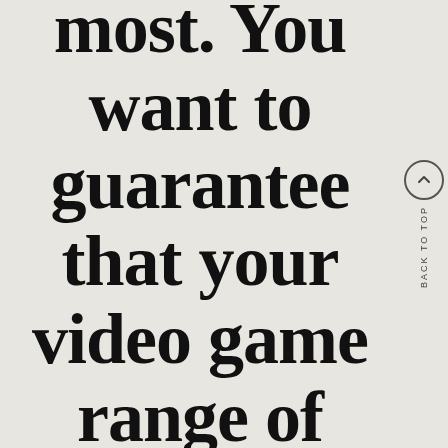most. You want to guarantee that your video game range of motion may
BACK TO TOP